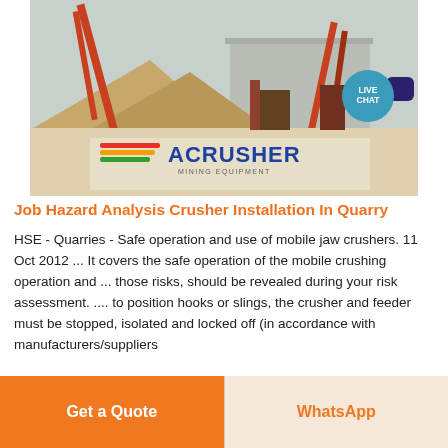[Figure (photo): Industrial quarry crushing plant with conveyor belts, orange cranes, stockpiles of aggregate, and an ACRUSHER Mining Equipment logo on the foreground banner.]
Job Hazard Analysis Crusher Installation In Quarry
HSE - Quarries - Safe operation and use of mobile jaw crushers. 11 Oct 2012 ... It covers the safe operation of the mobile crushing operation and ... those risks, should be revealed during your risk assessment. .... to position hooks or slings, the crusher and feeder must be stopped, isolated and locked off (in accordance with manufacturers/suppliers